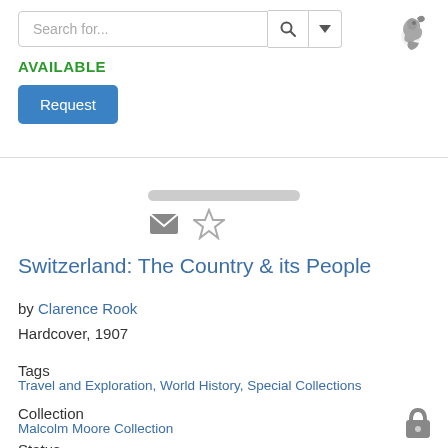[Figure (screenshot): Search bar UI element with text 'Search for...' and search/dropdown buttons, plus a squirrel logo icon in the top right]
AVAILABLE
Request
[Figure (other): Grey placeholder bar and mail/star icon buttons]
Switzerland: The Country & its People
by Clarence Rook
Hardcover, 1907
Tags
Travel and Exploration, World History, Special Collections
Collection
Malcolm Moore Collection
Status
[Figure (other): Lock padlock icon in bottom right corner]